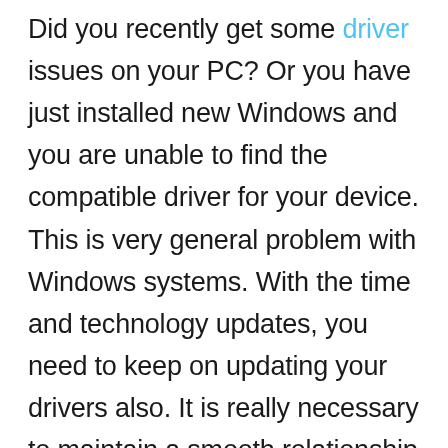Did you recently get some driver issues on your PC? Or you have just installed new Windows and you are unable to find the compatible driver for your device. This is very general problem with Windows systems. With the time and technology updates, you need to keep on updating your drivers also. It is really necessary to maintain a smooth relationship between your software and hardware.

And it's very irritating to manually find the